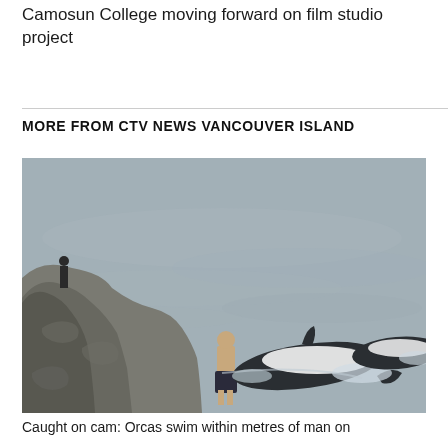Camosun College moving forward on film studio project
MORE FROM CTV NEWS VANCOUVER ISLAND
[Figure (photo): A person wading in shallow ocean water near rocky shore as orcas swim very close by, with a spectator on rocks in background]
Caught on cam: Orcas swim within metres of man on